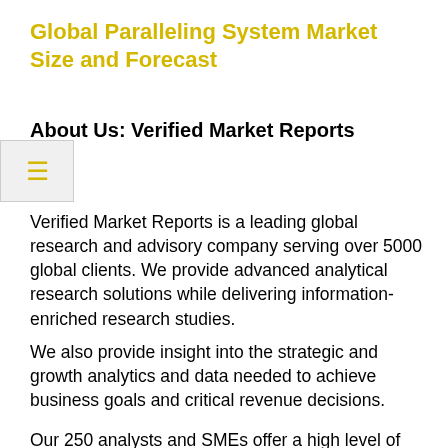Global Paralleling System Market Size and Forecast
About Us: Verified Market Reports
Verified Market Reports is a leading global research and advisory company serving over 5000 global clients. We provide advanced analytical research solutions while delivering information-enriched research studies.
We also provide insight into the strategic and growth analytics and data needed to achieve business goals and critical revenue decisions.
Our 250 analysts and SMEs offer a high level of expertise in data collection and governance using